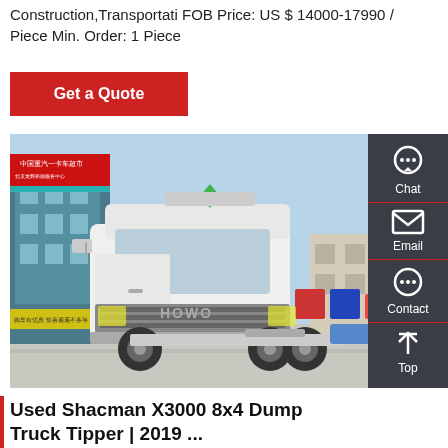Construction,Transportati FOB Price: US $ 14000-17990 / Piece Min. Order: 1 Piece
Get a Quote
[Figure (photo): White HOWO heavy-duty tractor truck parked in front of a dealership building with Chinese signage and red/teal facade. Several colorful trucks visible in background.]
Used Shacman X3000 8x4 Dump Truck Tipper | 2019 ...